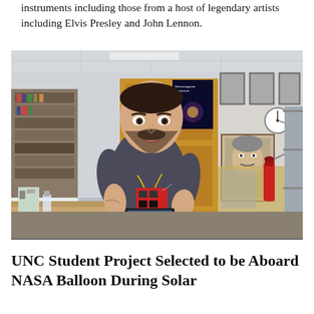instruments including those from a host of legendary artists including Elvis Presley and John Lennon.
[Figure (photo): A man in a gray t-shirt stands in a science classroom or lab, holding a small electronic device with wires. Behind him are bookshelves, a whiteboard, a wooden door, posters including an Electromagnetic Spectrum poster, a red fire extinguisher, and various photos and items on the walls.]
UNC Student Project Selected to be Aboard NASA Balloon During Solar